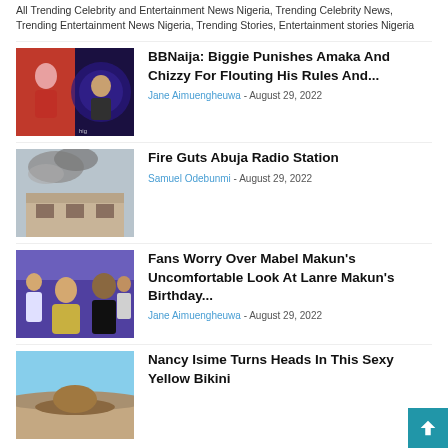All Trending Celebrity and Entertainment News Nigeria, Trending Celebrity News, Trending Entertainment News Nigeria, Trending Stories, Entertainment stories Nigeria
BBNaija: Biggie Punishes Amaka And Chizzy For Flouting His Rules And... | Jane Aimuengheuwa - August 29, 2022
Fire Guts Abuja Radio Station | Samuel Odebunmi - August 29, 2022
Fans Worry Over Mabel Makun's Uncomfortable Look At Lanre Makun's Birthday... | Jane Aimuengheuwa - August 29, 2022
Nancy Isime Turns Heads In This Sexy Yellow Bikini